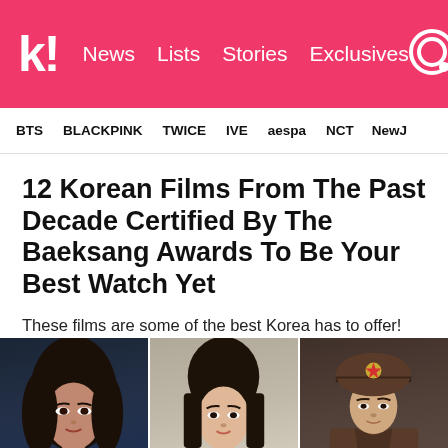k! News  Lists  Stories  Exclusives
BTS   BLACKPINK   TWICE   IVE   aespa   NCT   NewJ
12 Korean Films From The Past Decade Certified By The Baeksang Awards To Be Your Best Watch Yet
These films are some of the best Korea has to offer!
[Figure (photo): Three film stills side by side: left shows a close-up of a woman with dark hair against a blue background; center shows a woman with straight hair against a light background; right shows a person in a brown military/official uniform with a peaked cap featuring a star badge.]